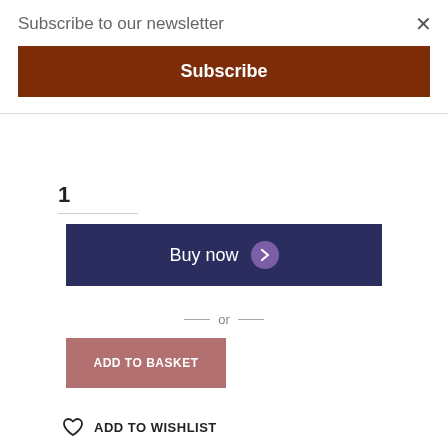Subscribe to our newsletter
Subscribe
1
Buy now
— or —
ADD TO BASKET
ADD TO WISHLIST
SHARE THIS PRODUCT